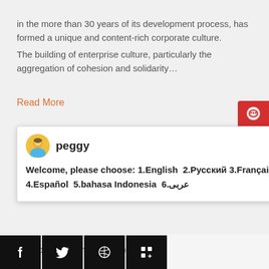in the more than 30 years of its development process, has formed a unique and content-rich corporate culture. The building of enterprise culture, particularly the aggregation of cohesion and solidarity…
Read More
[Figure (screenshot): Chat popup with avatar of agent named 'peggy', close button (×), and message: Welcome, please choose: 1.English 2.Русский 3.Français 4.Español 5.bahasa Indonesia 6.عربى]
No.169, Science (Kexue) Avenue,
0086-371-86162511
bestforyouzh@yahoo.com
[Figure (infographic): Blue notification circle with number 1]
[Figure (infographic): Social media icons bar: Facebook, Twitter, Dribbble, LinkedIn — black square buttons at bottom of page]